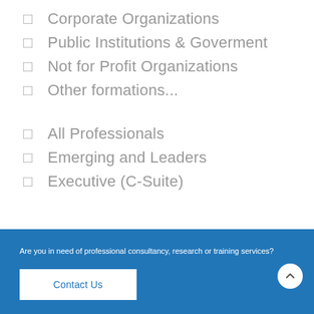Corporate Organizations
Public Institutions & Goverment
Not for Profit Organizations
Other formations...
All Professionals
Emerging and Leaders
Executive (C-Suite)
Are you in need of professional consultancy, research or training services?
Contact Us